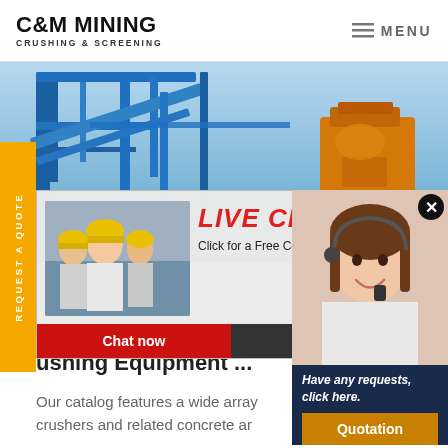C&M MINING CRUSHING & SCREENING | MENU
[Figure (photo): Industrial mining/crushing facility with blue steel frame structures and orange/yellow crushing equipment under clear sky]
REQUEST A QUOTE
[Figure (photo): Live chat popup with workers in yellow hard hats, LIVE CHAT heading, Click for a Free Consultation text, Chat now and Chat later buttons]
[Figure (photo): Right side chat widget showing customer service representative with headset smiling, with dark navy panel below containing Have any requests, click here. text and Quotation button]
rtable Rock Crushers for So
ushing Equipment ...
Our catalog features a wide array
crushers and related concrete ar